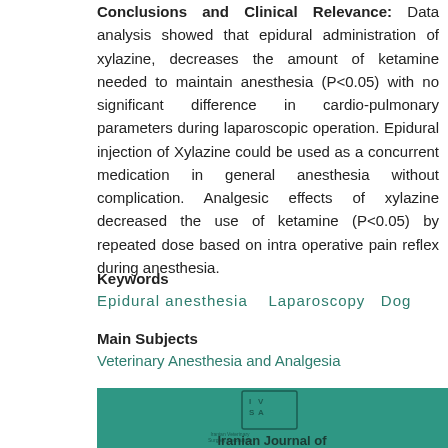Conclusions and Clinical Relevance: Data analysis showed that epidural administration of xylazine, decreases the amount of ketamine needed to maintain anesthesia (P<0.05) with no significant difference in cardio-pulmonary parameters during laparoscopic operation. Epidural injection of Xylazine could be used as a concurrent medication in general anesthesia without complication. Analgesic effects of xylazine decreased the use of ketamine (P<0.05) by repeated dose based on intra operative pain reflex during anesthesia.
Keywords
Epidural anesthesia   Laparoscopy   Dog
Main Subjects
Veterinary Anesthesia and Analgesia
[Figure (photo): Cover of Iranian Journal of Veterinary Surgery showing teal/green fabric background with IVSA logo and text 'Iranian Journal of']